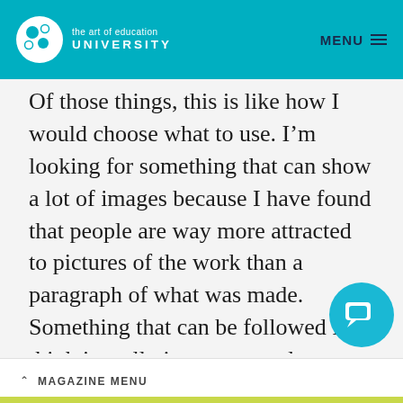the art of education UNIVERSITY | MENU
Of those things, this is like how I would choose what to use. I’m looking for something that can show a lot of images because I have found that people are way more attracted to pictures of the work than a paragraph of what was made. Something that can be followed I think is really important and something that has privacy settings. can adjust or you can control the level of
MAGAZINE MENU